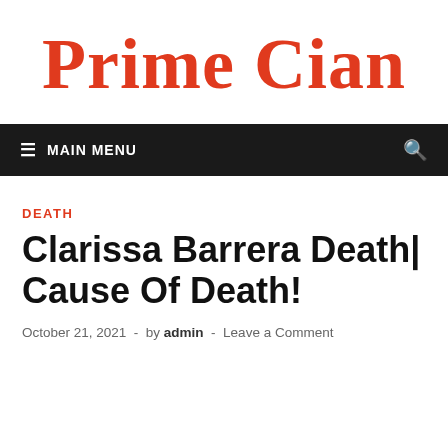Prime Cian
≡ MAIN MENU
DEATH
Clarissa Barrera Death| Cause Of Death!
October 21, 2021  -  by admin  -  Leave a Comment